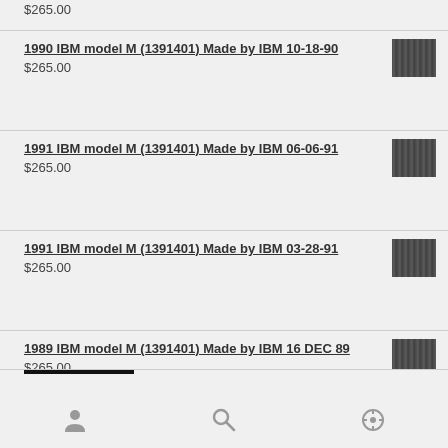$265.00
1990 IBM model M (1391401) Made by IBM 10-18-90
$265.00
1991 IBM model M (1391401) Made by IBM 06-06-91
$265.00
1991 IBM model M (1391401) Made by IBM 03-28-91
$265.00
1989 IBM model M (1391401) Made by IBM 16 DEC 89
$265.00